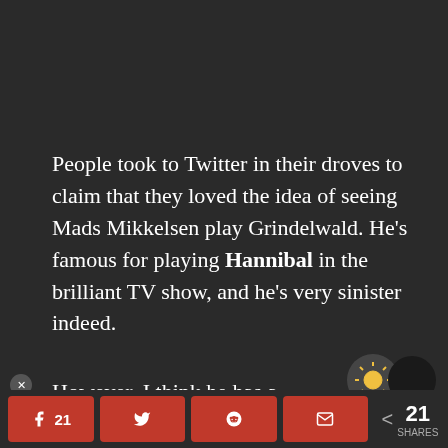People took to Twitter in their droves to claim that they loved the idea of seeing Mads Mikkelsen play Grindelwald. He's famous for playing Hannibal in the brilliant TV show, and he's very sinister indeed.
However, I think he has a certain leve...
[Figure (screenshot): AI Advertising banner overlay]
21  [Facebook share] [Twitter share] [Reddit share] [Email share]  < 21 SHARES